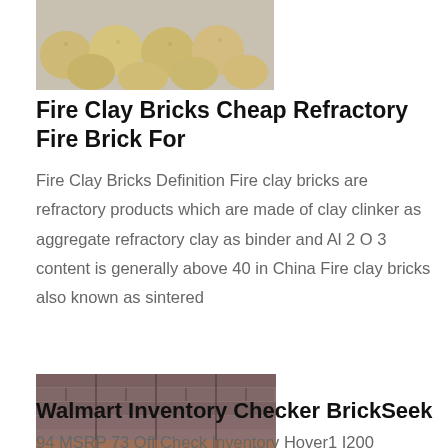[Figure (photo): Rounded beige/tan clay balls or pellets on a light gray background.]
Fire Clay Bricks Cheap Refractory Fire Brick For
Fire Clay Bricks Definition Fire clay bricks are refractory products which are made of clay clinker as aggregate refractory clay as binder and Al 2 O 3 content is generally above 40 in China Fire clay bricks also known as sintered
[Figure (photo): Stack of dark brown/grey rectangular bricks or refractory tiles arranged on wooden pallets.]
Walmart Inventory Checker BrickSeek
94 MSRP 73 Off Check Inventory Hover1 I200 Hoverboard with Builtin Bluetooth Speaker LED